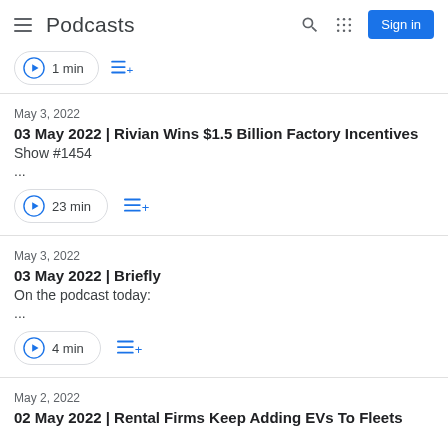Podcasts
May 3, 2022 | 03 May 2022 | Rivian Wins $1.5 Billion Factory Incentives | Show #1454 | 23 min
May 3, 2022 | 03 May 2022 | Briefly | On the podcast today: | 4 min
May 2, 2022 | 02 May 2022 | Rental Firms Keep Adding EVs To Fleets